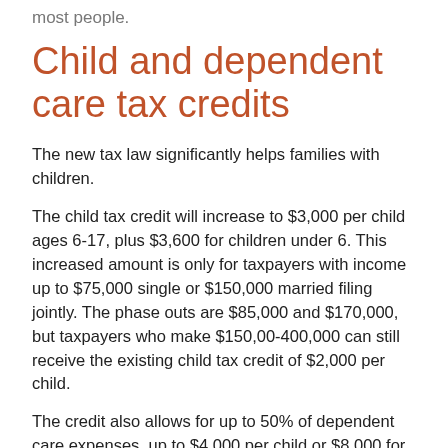most people.
Child and dependent care tax credits
The new tax law significantly helps families with children.
The child tax credit will increase to $3,000 per child ages 6-17, plus $3,600 for children under 6. This increased amount is only for taxpayers with income up to $75,000 single or $150,000 married filing jointly. The phase outs are $85,000 and $170,000, but taxpayers who make $150,00-400,000 can still receive the existing child tax credit of $2,000 per child.
The credit also allows for up to 50% of dependent care expenses, up to $4,000 per child or $8,000 for two or more children, to be claimed on a refundable tax credit for